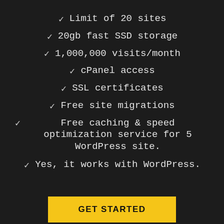Limit of 20 sites
20gb fast SSD storage
1,000,000 visits/month
cPanel access
SSL certificates
Free site migrations
Free caching & speed optimization service for 5 WordPress site.
Yes, it works with WordPress.
GET STARTED